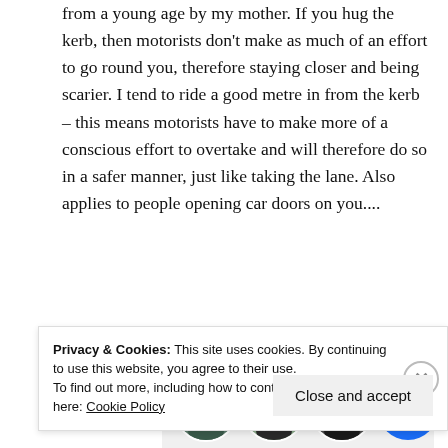from a young age by my mother. If you hug the kerb, then motorists don't make as much of an effort to go round you, therefore staying closer and being scarier. I tend to ride a good metre in from the kerb – this means motorists have to make more of a conscious effort to overtake and will therefore do so in a safer manner, just like taking the lane. Also applies to people opening car doors on you....
[Figure (screenshot): Promotional box with bold text 'And free.' and three circular profile photo avatars plus a blue plus-circle button, on a light grey background]
Privacy & Cookies: This site uses cookies. By continuing to use this website, you agree to their use.
To find out more, including how to control cookies, see here: Cookie Policy